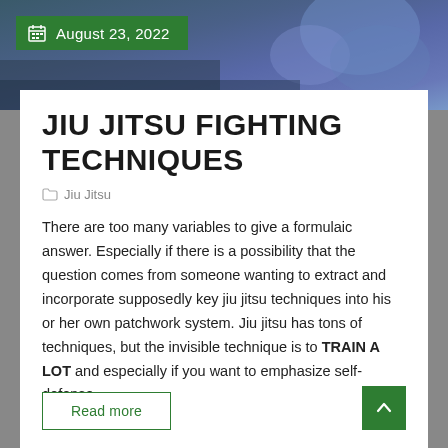[Figure (photo): Background photo of martial arts / jiu jitsu scene with blue/teal tones, partially visible at the top of the page]
August 23, 2022
JIU JITSU FIGHTING TECHNIQUES
Jiu Jitsu
There are too many variables to give a formulaic answer. Especially if there is a possibility that the question comes from someone wanting to extract and incorporate supposedly key jiu jitsu techniques into his or her own patchwork system. Jiu jitsu has tons of techniques, but the invisible technique is to TRAIN A LOT and especially if you want to emphasize self-defense...
Read more